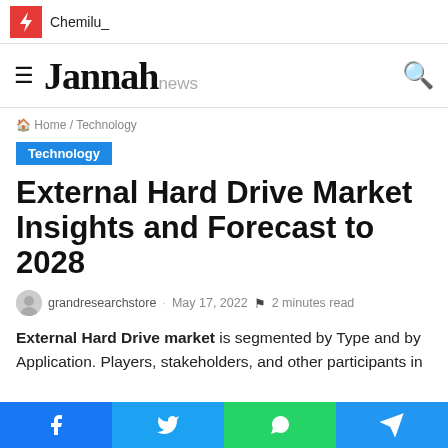Chemilu_
Jannah news
Home / Technology
Technology
External Hard Drive Market Insights and Forecast to 2028
grandresearchstore · May 17, 2022 · 2 minutes read
External Hard Drive market is segmented by Type and by Application. Players, stakeholders, and other participants in